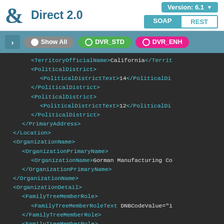[Figure (screenshot): D&B Direct 2.0 API documentation interface showing header with logo, version selector (6.1), SOAP/REST toggle, filter buttons (Show All, DVR_STD, DVR_ENH), and XML code panel displaying location/organization XML structure.]
<TerritoryOfficialName>California</TerritoryOfficialName>
<PoliticalDistrict>
  <PoliticalDistrictText>14</PoliticalDistrictText>
</PoliticalDistrict>
<PoliticalDistrict>
  <PoliticalDistrictText>12</PoliticalDistrictText>
</PoliticalDistrict>
</PrimaryAddress>
</Location>
<OrganizationName>
  <OrganizationPrimaryName>
    <OrganizationName>Gorman Manufacturing Co
  </OrganizationPrimaryName>
</OrganizationName>
<OrganizationDetail>
  <FamilyTreeMemberRole>
    <FamilyTreeMemberRoleText DNBCodeValue="1
  </FamilyTreeMemberRole>
  <FamilyTreeMemberRole>
    <FamilyTreeMemberRoleText DNBCodeValue="1
  </FamilyTreeMemberRole>
  <FamilyTreeMemberRole>